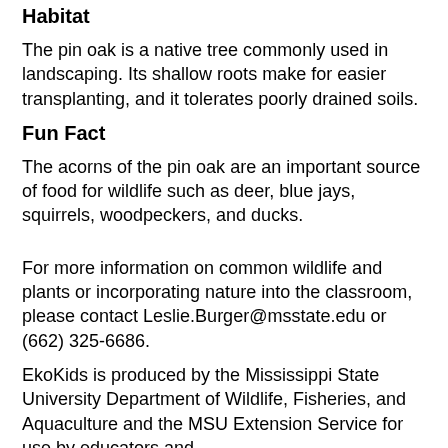Habitat
The pin oak is a native tree commonly used in landscaping. Its shallow roots make for easier transplanting, and it tolerates poorly drained soils.
Fun Fact
The acorns of the pin oak are an important source of food for wildlife such as deer, blue jays, squirrels, woodpeckers, and ducks.
For more information on common wildlife and plants or incorporating nature into the classroom, please contact Leslie.Burger@msstate.edu or (662) 325-6686.
EkoKids is produced by the Mississippi State University Department of Wildlife, Fisheries, and Aquaculture and the MSU Extension Service for use by educators and